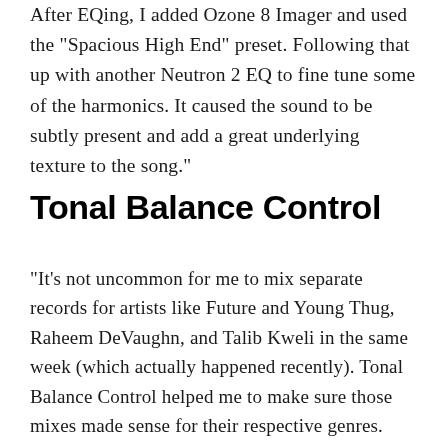After EQing, I added Ozone 8 Imager and used the "Spacious High End" preset. Following that up with another Neutron 2 EQ to fine tune some of the harmonics. It caused the sound to be subtly present and add a great underlying texture to the song."
Tonal Balance Control
"It's not uncommon for me to mix separate records for artists like Future and Young Thug, Raheem DeVaughn, and Talib Kweli in the same week (which actually happened recently). Tonal Balance Control helped me to make sure those mixes made sense for their respective genres. There are no concrete rules in music, but I like to know how the tonal balances of the song I mixed compare to other charting songs in that genre. It helps